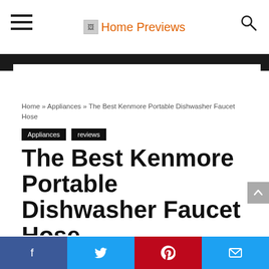Home Previews
Home » Appliances » The Best Kenmore Portable Dishwasher Faucet Hose
Appliances   reviews
The Best Kenmore Portable Dishwasher Faucet Hose
margoscorner • July 21, 2020 👁 15 💬